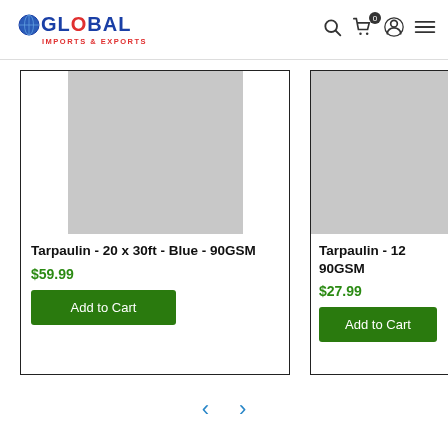[Figure (logo): Global Imports & Exports logo with globe icon, blue text, red subtitle]
[Figure (photo): Tarpaulin product image placeholder - grey rectangle]
Tarpaulin - 20 x 30ft - Blue - 90GSM
$59.99
Add to Cart
[Figure (photo): Tarpaulin product image placeholder - grey rectangle (partially visible)]
Tarpaulin - 12 90GSM
$27.99
Add to Cart